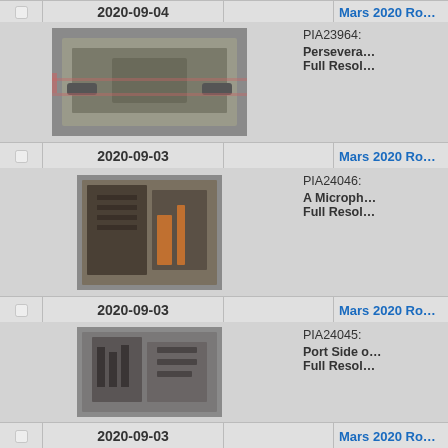|  | Date |  | Title/ID |
| --- | --- | --- | --- |
| ☐ | 2020-09-04 |  | Mars 2020 Ro… |
| (image) |  |  | PIA23964: Persevera… Full Resol… |
| ☐ | 2020-09-03 |  | Mars 2020 Ro… |
| (image) |  |  | PIA24046: A Microph… Full Resol… |
| ☐ | 2020-09-03 |  | Mars 2020 Ro… |
| (image) |  |  | PIA24045: Port Side … Full Resol… |
| ☐ | 2020-09-03 |  | Mars 2020 Ro… |
| (image) |  |  | PIA24044: 10 Days o… |